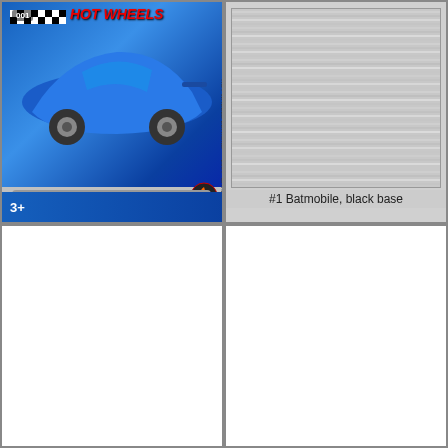[Figure (photo): Hot Wheels diecast car toy packaging card showing a blue sports car on the card front, numbered 001, with a gray/silver Batmobile car in blister pack, age rating 3+]
[Figure (photo): Brushed silver/metal texture background, empty, showing the base/underside detail area of a Hot Wheels Batmobile with black base variant]
#1 Batmobile, black base
[Figure (photo): Empty white cell, no content]
[Figure (photo): Empty white cell, no content]